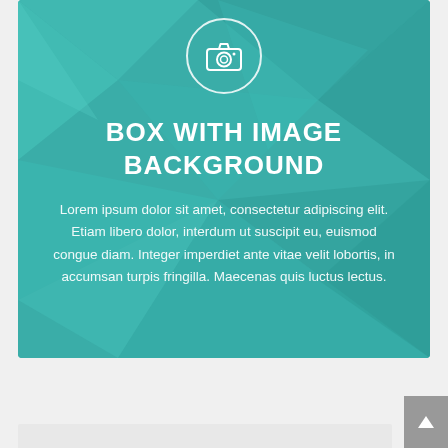[Figure (illustration): Teal/aqua polygonal geometric background card with a camera icon in a circle at the top]
BOX WITH IMAGE BACKGROUND
Lorem ipsum dolor sit amet, consectetur adipiscing elit. Etiam libero dolor, interdum ut suscipit eu, euismod congue diam. Integer imperdiet ante vitae velit lobortis, in accumsan turpis fringilla. Maecenas quis luctus lectus.